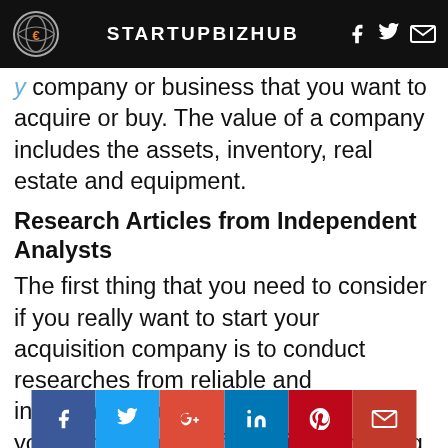STARTUPBIZHUB
company or business that you want to acquire or buy. The value of a company includes the assets, inventory, real estate and equipment.
Research Articles from Independent Analysts
The first thing that you need to consider if you really want to start your acquisition company is to conduct researches from reliable and independent analysts who will provide you with valuable information regarding a certain company that you want to acquire or buy. You also need to bear in mind to know some reasons why a certain company is being sold by the owner.